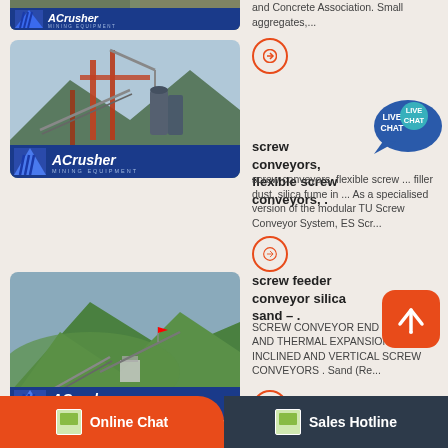[Figure (photo): Top partial: mining/industrial site image with ACrusher Mining Equipment logo overlay]
and Concrete Association. Small aggregates,...
[Figure (photo): Industrial conveyor/crane structure with ACrusher Mining Equipment logo overlay]
screw conveyors, flexible screw conveyors, .
screw conveyors, flexible screw ... filler dust, silica fume in ... As a specialised version of the modular TU Screw Conveyor System, ES Scr...
[Figure (photo): Mountain/quarry mining site with conveyor belts and ACrusher Mining Equipment logo overlay]
screw feeder conveyor silica sand – .
SCREW CONVEYOR END THRUST AND THERMAL EXPANSION . INCLINED AND VERTICAL SCREW CONVEYORS . Sand (Re...
Online Chat
Sales Hotline